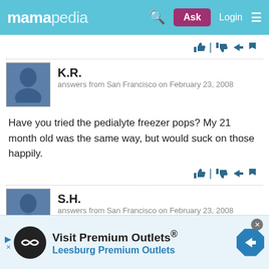mamapedia | Ask | Login
K.R.
answers from San Francisco on February 23, 2008
Have you tried the pedialyte freezer pops? My 21 month old was the same way, but would suck on those happily.
S.H.
answers from San Francisco on February 23, 2008
[Figure (infographic): Advertisement banner: Visit Premium Outlets® / Leesburg Premium Outlets with logo and navigation arrow icon]